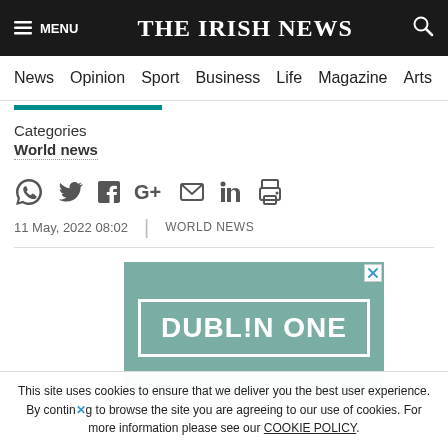THE IRISH NEWS
News | Opinion | Sport | Business | Life | Magazine | Arts
Categories
World news
11 May, 2022 08:02 | WORLD NEWS
[Figure (screenshot): Advertisement banner with teal/green background showing 'DUBL!N ONE' text in white bold lettering inside a white rectangle border, with a close (X) button in the top right corner.]
This site uses cookies to ensure that we deliver you the best user experience. By continuing to browse the site you are agreeing to our use of cookies. For more information please see our COOKIE POLICY.